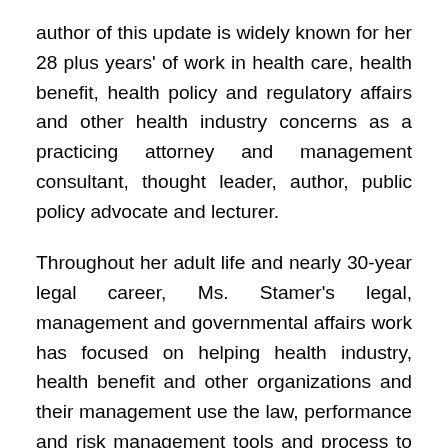author of this update is widely known for her 28 plus years' of work in health care, health benefit, health policy and regulatory affairs and other health industry concerns as a practicing attorney and management consultant, thought leader, author, public policy advocate and lecturer.
Throughout her adult life and nearly 30-year legal career, Ms. Stamer's legal, management and governmental affairs work has focused on helping health industry, health benefit and other organizations and their management use the law, performance and risk management tools and process to manage people, performance, quality, compliance, operations and risk. Highly valued for her rare ability to find pragmatic client-centric solutions by combining her detailed legal and operational knowledge and experience with her talent for creative problem-solving, Ms. Stamer also has a...